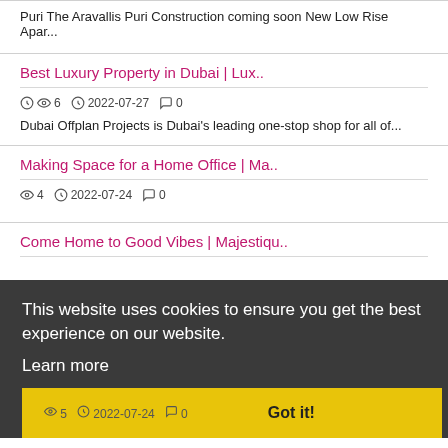Puri The Aravallis Puri Construction coming soon New Low Rise Apar...
Best Luxury Property in Dubai | Lux..
6  2022-07-27  0
Dubai Offplan Projects is Dubai's leading one-stop shop for all of...
Making Space for a Home Office | Ma..
4  2022-07-24  0
This website uses cookies to ensure you get the best experience on our website.
Learn more
Come Home to Good Vibes | Majestiqu..
5  2022-07-24  0  Got it!
This is especially important if you have young children in the hou...